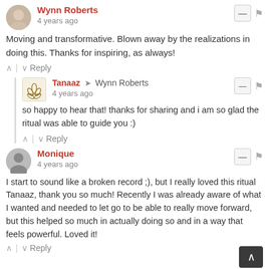Wynn Roberts
4 years ago
Moving and transformative. Blown away by the realizations in doing this. Thanks for inspiring, as always!
Reply
Tanaaz → Wynn Roberts
4 years ago
so happy to hear that! thanks for sharing and i am so glad the ritual was able to guide you :)
Reply
Monique
4 years ago
I start to sound like a broken record ;), but I really loved this ritual Tanaaz, thank you so much! Recently I was already aware of what I wanted and needed to let go to be able to really move forward, but this helped so much in actually doing so and in a way that feels powerful. Loved it!
Reply